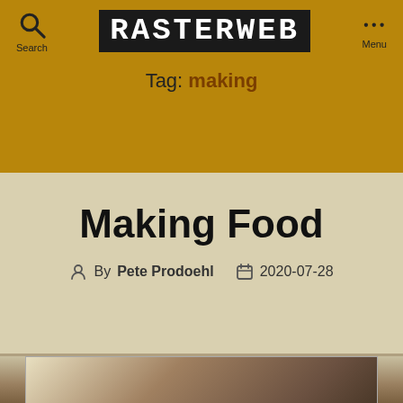RASTERWEB
Tag: making
Making Food
By Pete Prodoehl  2020-07-28
[Figure (photo): Partial photo of food visible at bottom of page]